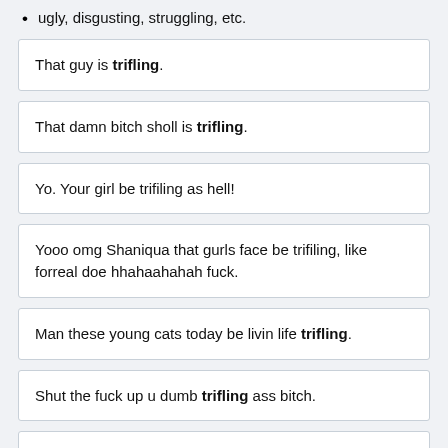ugly, disgusting, struggling, etc.
That guy is trifling.
That damn bitch sholl is trifling.
Yo. Your girl be trifiling as hell!
Yooo omg Shaniqua that gurls face be trifiling, like forreal doe hhahaahahah fuck.
Man these young cats today be livin life trifling.
Shut the fuck up u dumb trifling ass bitch.
Yo its that crazy hoe be trifling. Damnn she need to shut the hell up...(as said on Maury)
...trifling...